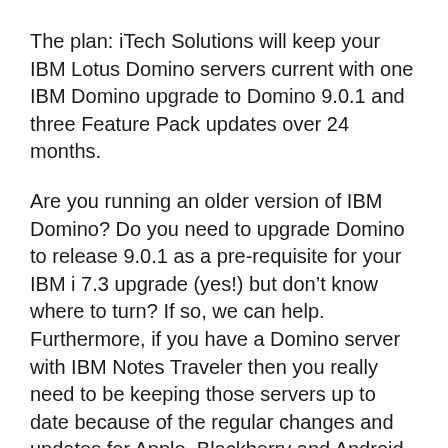The plan: iTech Solutions will keep your IBM Lotus Domino servers current with one IBM Domino upgrade to Domino 9.0.1 and three Feature Pack updates over 24 months.
Are you running an older version of IBM Domino? Do you need to upgrade Domino to release 9.0.1 as a pre-requisite for your IBM i 7.3 upgrade (yes!) but don't know where to turn? If so, we can help. Furthermore, if you have a Domino server with IBM Notes Traveler then you really need to be keeping those servers up to date because of the regular changes and updates for Apple, Blackberry and Android devices. For a low monthly fee, iTech Solutions will bring your IBM Domino servers up to release 9.0.1 and ensure you're getting the most out of your software subscription with regular Feature Pack installations.